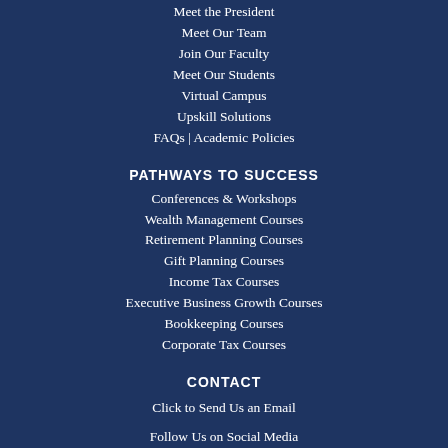Meet the President
Meet Our Team
Join Our Faculty
Meet Our Students
Virtual Campus
Upskill Solutions
FAQs | Academic Policies
PATHWAYS TO SUCCESS
Conferences & Workshops
Wealth Management Courses
Retirement Planning Courses
Gift Planning Courses
Income Tax Courses
Executive Business Growth Courses
Bookkeeping Courses
Corporate Tax Courses
CONTACT
Click to Send Us an Email
Follow Us on Social Media